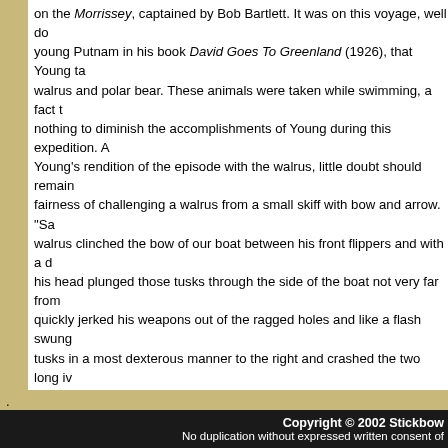on the Morrissey, captained by Bob Bartlett. It was on this voyage, well documented by young Putnam in his book David Goes To Greenland (1926), that Young took walrus and polar bear. These animals were taken while swimming, a fact that does nothing to diminish the accomplishments of Young during this expedition. After reading Young's rendition of the episode with the walrus, little doubt should remain as to the fairness of challenging a walrus from a small skiff with bow and arrow. "Sa... walrus clinched the bow of our boat between his front flippers and with a deadly lunge his head plunged those tusks through the side of the boat not very far from my leg then quickly jerked his weapons out of the ragged holes and like a flash swung those deadly tusks in a most dexterous manner to the right and crashed the two long ivory lances into the other side of the launch. I grabbed the lance and made a jab at the raging beast but as luck would have it, the cutting blade was on the other end of the handle. I was afraid to risk turning the lance around after having seen how fast the wrecker could move so I used all my strength to keep the weakening, fighting monster away from o...
With little else to accomplish in the manner of taking game with the longbow, Young settled into a routine of lecturing and working with the youth of America. S... in the early thirties he moved to Homewood, Illinois where he worked at the 1934 World's Fair in Chicago as well as continuing his lectures. In February, 1935, Young contacted his friend Paul Klopsteg who also resided in the Homewood area and invited Klopsteg to meet Sasha Siemel. Klopsteg was one of two outsiders invited to hear Young and Siemel give their lecture demonstrations that evening. Klopsteg had the inspiration to bring along his copy of Elmer's Archery and had both autograph it at the completion of this memorable occasion. Three weeks later Art Young was admitted to the hospital with a ruptured appendix and died from complications of peritonitis, early on a Tuesday morning, February 26, 1935.
Copyright © 2002 Stickbow
No duplication without expressed written consent of